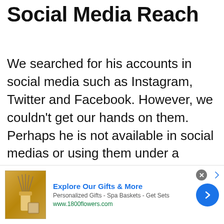Social Media Reach
We searched for his accounts in social media such as Instagram, Twitter and Facebook. However, we couldn't get our hands on them. Perhaps he is not available in social medias or using them under a different name.
[Figure (infographic): Advertisement banner for 1800flowers.com showing gift products (reed diffuser and spa items), with headline 'Explore Our Gifts & More', subtext 'Personalized Gifts - Spa Baskets - Get Sets', URL 'www.1800flowers.com', a close button (X circle), navigation arrow icon, and a blue forward arrow button.]